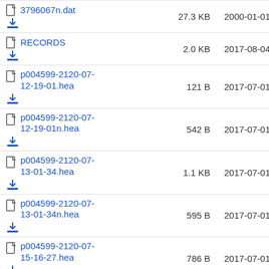3796067n.dat  27.3 KB  2000-01-01
RECORDS  2.0 KB  2017-08-04
p004599-2120-07-12-19-01.hea  121 B  2017-07-01
p004599-2120-07-12-19-01n.hea  542 B  2017-07-01
p004599-2120-07-13-01-34.hea  1.1 KB  2017-07-01
p004599-2120-07-13-01-34n.hea  595 B  2017-07-01
p004599-2120-07-15-16-27.hea  786 B  2017-07-01
p004599-2120-07-15-16-27n.hea  586 B  2017-07-01
p004599-2120-07-17-17-10.hea  302 B  2017-07-01